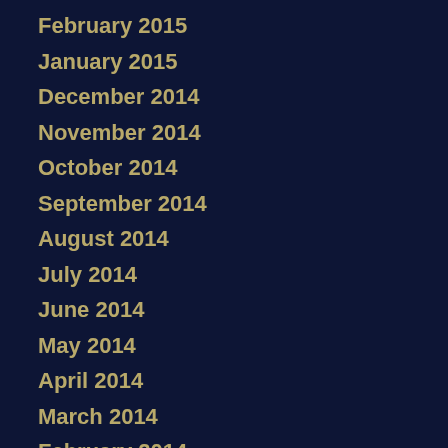February 2015
January 2015
December 2014
November 2014
October 2014
September 2014
August 2014
July 2014
June 2014
May 2014
April 2014
March 2014
February 2014
January 2014
December 2013
November 2013
October 2013
September 2013